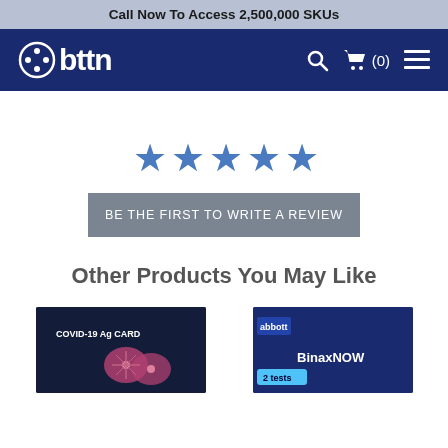Call Now To Access 2,500,000 SKUs
[Figure (logo): bttn logo with circle icon on dark navy navigation bar with search icon, cart (0), and hamburger menu]
[Figure (infographic): Five blue star rating icons indicating 0 reviews]
BE THE FIRST TO WRITE A REVIEW
Other Products You May Like
[Figure (photo): COVID-19 Ag Card product box with dark navy background and pink virus icons]
[Figure (photo): Abbott branded medical test product box, blue and white, 2 tests]